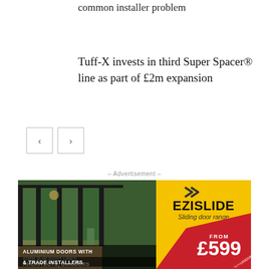common installer problem
Tuff-X invests in third Super Spacer® line as part of £2m expansion
[Figure (other): Navigation previous/next buttons (left and right arrow buttons)]
– Advertisement –
[Figure (infographic): EziSlide sliding door range advertisement. Yellow background with photo of aluminium sliding doors. EZISLIDE branding with tagline 'Sliding door range'. Red badge showing FROM £599 UNGLAZED. Text: ALUMINIUM DOORS WITH 45MM SLIM SIGHT LINES. ARCHITECTS, BUILDERS & TRADE INSTALLERS.]